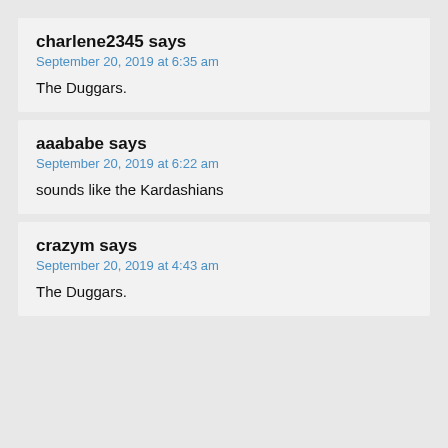charlene2345 says
September 20, 2019 at 6:35 am
The Duggars.
aaababe says
September 20, 2019 at 6:22 am
sounds like the Kardashians
crazym says
September 20, 2019 at 4:43 am
The Duggars.